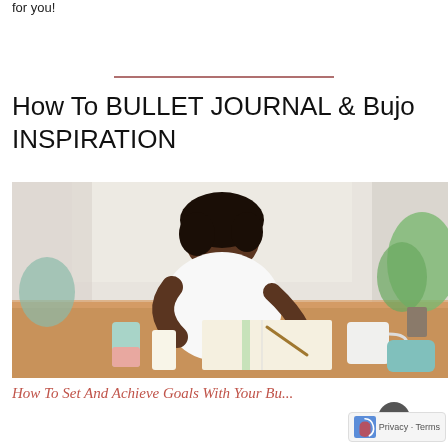for you!
How To BULLET JOURNAL & Bujo INSPIRATION
[Figure (photo): A woman with dark curly hair wearing a white long-sleeve top leans over a wooden desk writing in a journal/notebook. On the desk are candles, a white mug, and green plants visible in the background.]
How To Set And Achieve Goals With Your Bu...